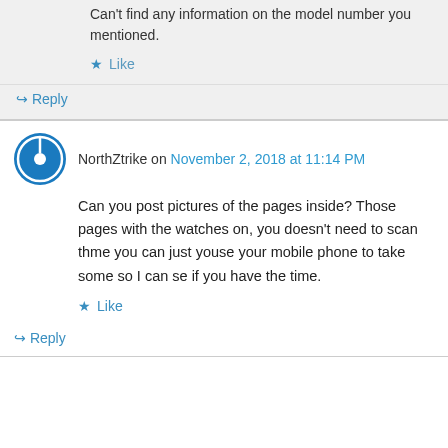Can't find any information on the model number you mentioned.
★ Like
↪ Reply
NorthZtrike on November 2, 2018 at 11:14 PM
Can you post pictures of the pages inside? Those pages with the watches on, you doesn't need to scan thme you can just youse your mobile phone to take some so I can se if you have the time.
★ Like
↪ Reply